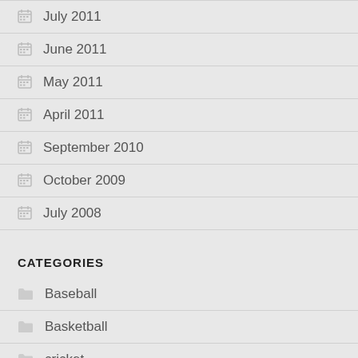July 2011
June 2011
May 2011
April 2011
September 2010
October 2009
July 2008
CATEGORIES
Baseball
Basketball
cricket